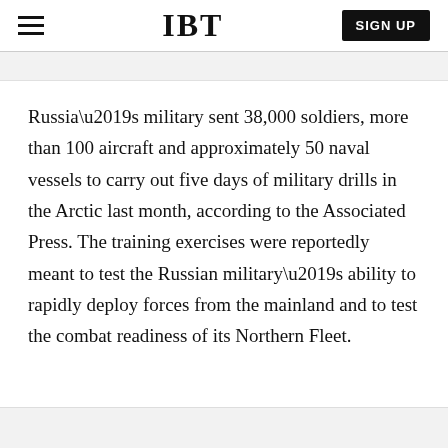IBT  SIGN UP
Russia’s military sent 38,000 soldiers, more than 100 aircraft and approximately 50 naval vessels to carry out five days of military drills in the Arctic last month, according to the Associated Press. The training exercises were reportedly meant to test the Russian military’s ability to rapidly deploy forces from the mainland and to test the combat readiness of its Northern Fleet.